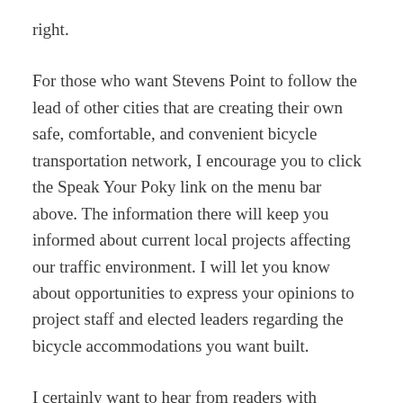right.
For those who want Stevens Point to follow the lead of other cities that are creating their own safe, comfortable, and convenient bicycle transportation network, I encourage you to click the Speak Your Poky link on the menu bar above. The information there will keep you informed about current local projects affecting our traffic environment. I will let you know about opportunities to express your opinions to project staff and elected leaders regarding the bicycle accommodations you want built.
I certainly want to hear from readers with constructive comments. I encourage you to e-mail any questions and comments to me using the form at the bottom of each blog post or on the Contact page.  If I feel what you have to say is worth sharing, I'll copy it into a future post.